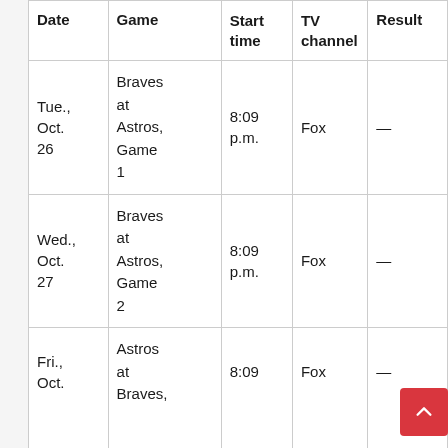| Date | Game | Start time | TV channel | Result |
| --- | --- | --- | --- | --- |
| Tue., Oct. 26 | Braves at Astros, Game 1 | 8:09 p.m. | Fox | — |
| Wed., Oct. 27 | Braves at Astros, Game 2 | 8:09 p.m. | Fox | — |
| Fri., Oct. | Astros at Braves, | 8:09 | Fox | — |